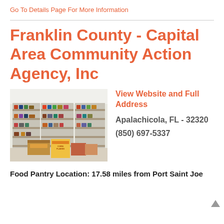Go To Details Page For More Information
Franklin County - Capital Area Community Action Agency, Inc
[Figure (photo): Interior of a food pantry showing shelves stocked with canned goods, boxes, and food items in a white-walled room.]
View Website and Full Address
Apalachicola, FL - 32320
(850) 697-5337
Food Pantry Location: 17.58 miles from Port Saint Joe